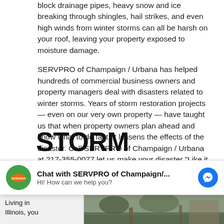block drainage pipes, heavy snow and ice breaking through shingles, hail strikes, and even high winds from winter storms can all be harsh on your roof, leaving your property exposed to moisture damage.
SERVPRO of Champaign / Urbana has helped hundreds of commercial business owners and property managers deal with disasters related to winter storms. Years of storm restoration projects — even on our very own property — have taught us that when property owners plan ahead and know what to do fast, it lessens the effects of the disaster. Call SERVPRO of Champaign / Urbana at 217-355-0077 let us make your disaster "Like it never even happened."
STORM DAMAGE RESTORATION IN THE MIDWEST
[Figure (screenshot): Chat widget overlay showing SERVPRO of Champaign messenger chat prompt with green logo, chat title, and Facebook Messenger icon]
Living in Illinois, you
[Figure (photo): Photo of storm-damaged roof or outdoor scene]